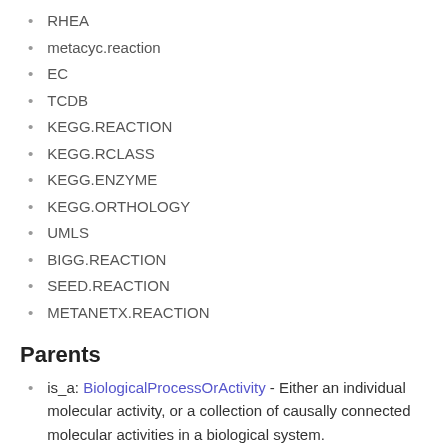RHEA
metacyc.reaction
EC
TCDB
KEGG.REACTION
KEGG.RCLASS
KEGG.ENZYME
KEGG.ORTHOLOGY
UMLS
BIGG.REACTION
SEED.REACTION
METANETX.REACTION
Parents
is_a: BiologicalProcessOrActivity - Either an individual molecular activity, or a collection of causally connected molecular activities in a biological system.